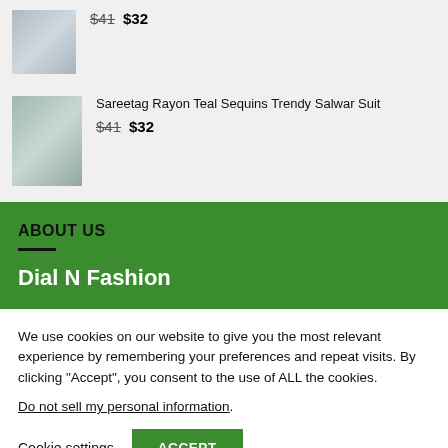$41  $32
[Figure (photo): Product photo of a salwar suit, teal/blue color]
Sareetag Rayon Teal Sequins Trendy Salwar Suit
$41  $32
ABOUT US
Dial N Fashion
We use cookies on our website to give you the most relevant experience by remembering your preferences and repeat visits. By clicking “Accept”, you consent to the use of ALL the cookies.
Do not sell my personal information.
Cookie settings   ACCEPT